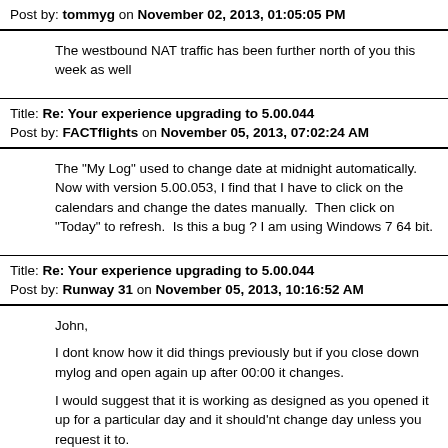Post by: tommyg on November 02, 2013, 01:05:05 PM
The westbound NAT traffic has been further north of you this week as well
Title: Re: Your experience upgrading to 5.00.044
Post by: FACTflights on November 05, 2013, 07:02:24 AM
The "My Log" used to change date at midnight automatically. Now with version 5.00.053, I find that I have to click on the calendars and change the dates manually.  Then click on "Today" to refresh.  Is this a bug ? I am using Windows 7 64 bit.
Title: Re: Your experience upgrading to 5.00.044
Post by: Runway 31 on November 05, 2013, 10:16:52 AM
John,

I dont know how it did things previously but if you close down mylog and open again up after 00:00 it changes.

I would suggest that it is working as designed as you opened it up for a particular day and it should'nt change day unless you request it to.

Alan